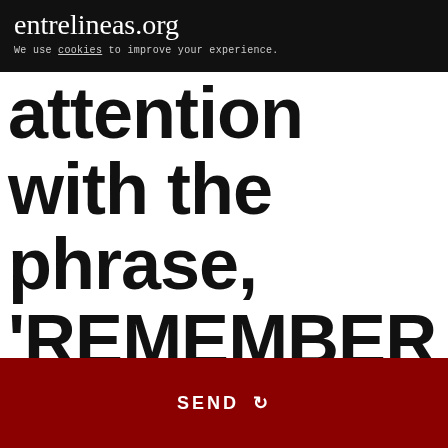entrelineas.org
We use cookies to improve your experience.
attention with the phrase, 'REMEMBER ME.' He strikes me that he changed it at the last minute for a
SEND ↻